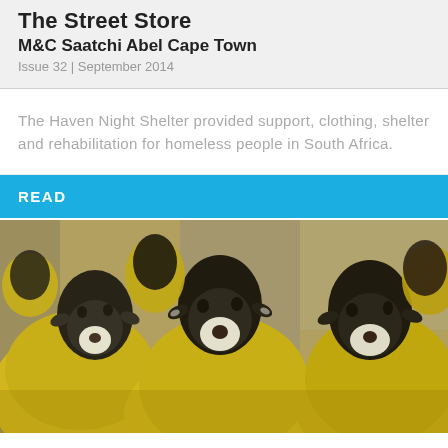The Street Store
M&C Saatchi Abel Cape Town
Issue 32 | September 2014
The Haven Night Shelter provided support, clothing, shelter and rehabilitation for homeless people in South Africa.
READ
[Figure (photo): A group of sheep with black faces and yellow/golden woolly bodies crowded together, facing the camera inside what appears to be a barn or farm enclosure.]